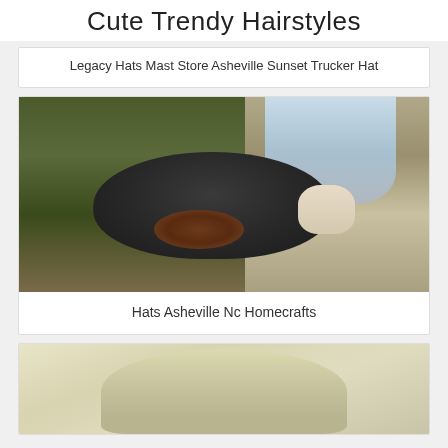Cute Trendy Hairstyles
Legacy Hats Mast Store Asheville Sunset Trucker Hat
[Figure (photo): Back view of a person wearing a large dark felt hat with a hair bun visible underneath, outdoor setting with greenery and wooden fence]
Hats Asheville Nc Homecrafts
[Figure (photo): Light-colored cream/ivory hat, partial view from below]